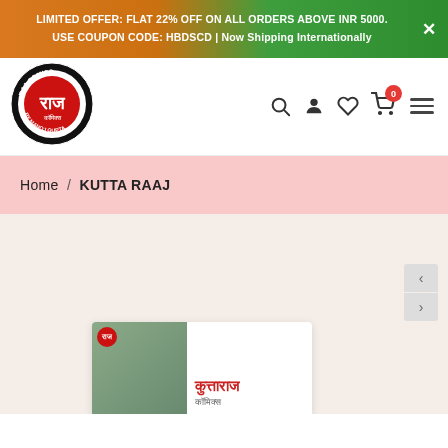LIMITED OFFER: FLAT 22% OFF ON ALL ORDERS ABOVE INR 5000. USE COUPON CODE: HBDSCD | Now Shipping Internationally
[Figure (logo): Raj Comics by Manoj Gupta circular logo with Hindi text]
Home / KUTTA RAAJ
[Figure (photo): Partial product card showing Kutta Raaj comic book cover with Hindi text]